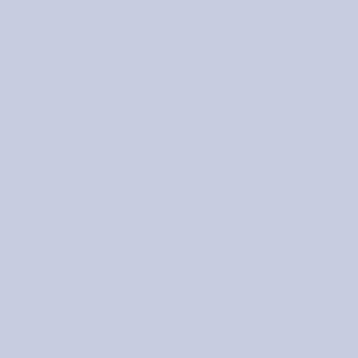We went for a walk there recently. perfect entry to the painting, fram a lot more watercolor work lately. and a loose approach where the p image you can click on for a large
[Figure (illustration): Watercolor painting of a path through trees with hills and sky in the background]
8x12 to 12x24, Available, Cats School, Hudson River Valley, La
Spring Playtime at
Posted by Jamie on April 16th, 2017
Click painting for a larger, clearer
[Figure (photo): Photo of spring playtime scene, partially visible at bottom]